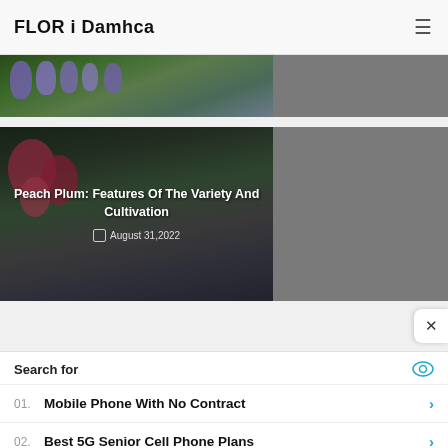FLOR i Damhca
[Figure (photo): Partial view of a card with grape hyacinth/muscari flowers on dark green foliage, right portion grey]
[Figure (photo): Article card with dark plum tree background overlay. Title: Peach Plum: Features Of The Variety And Cultivation. Date: August 31,2022]
Peach Plum: Features Of The Variety And Cultivation
August 31,2022
Search for
01. Mobile Phone With No Contract
02. Best 5G Senior Cell Phone Plans
Yahoo! Search | Sponsored